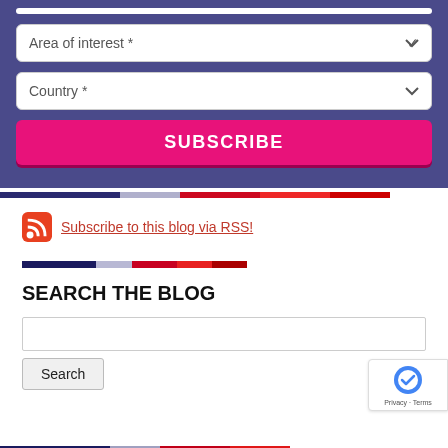[Figure (screenshot): Purple subscription form box showing 'Area of interest *' and 'Country *' dropdown fields, and a pink SUBSCRIBE button]
Subscribe to this blog via RSS!
SEARCH THE BLOG
[Figure (screenshot): Search input field with Search button and reCAPTCHA badge in bottom right]